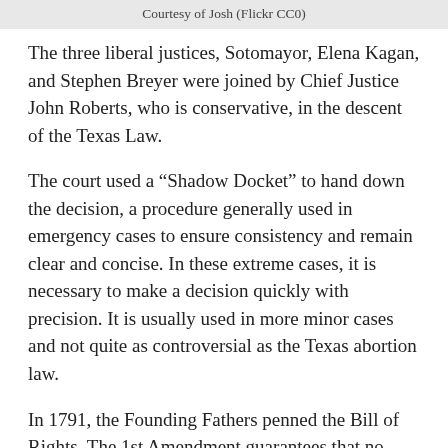Courtesy of Josh (Flickr CC0)
The three liberal justices, Sotomayor, Elena Kagan, and Stephen Breyer were joined by Chief Justice John Roberts, who is conservative, in the descent of the Texas Law.
The court used a “Shadow Docket” to hand down the decision, a procedure generally used in emergency cases to ensure consistency and remain clear and concise. In these extreme cases, it is necessary to make a decision quickly with precision. It is usually used in more minor cases and not quite as controversial as the Texas abortion law.
In 1791, the Founding Fathers penned the Bill of Rights. The 1st Amendment guarantees that no man, woman, or child shall be forced to subscribe to any specific religious beliefs, nor shall any such beliefs be enforced. Unfortunately, the Texas bill SB-8 is stepping on the Constitution’s First Amendment by telling women to abide by the Christian-based pro-life movement.